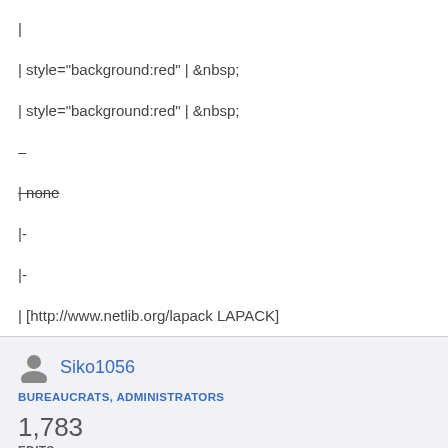|
| style="background:red" | &nbsp;
| style="background:red" | &nbsp;
–
| none (strikethrough)
|-
|-
| [http://www.netlib.org/lapack LAPACK]
Siko1056
BUREAUCRATS, ADMINISTRATORS
1,783 EDITS